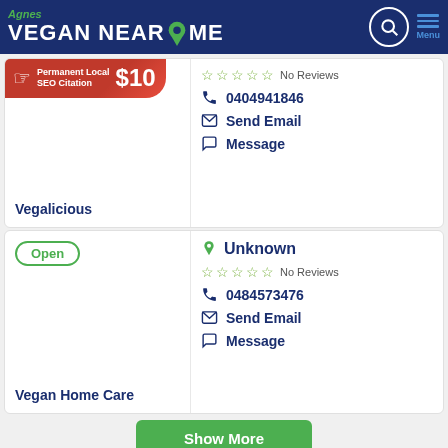Agnes Vegan Near Me
[Figure (screenshot): Ad banner: Permanent Local SEO Citation $10]
No Reviews
0404941846
Send Email
Message
Vegalicious
Open
Unknown
No Reviews
0484573476
Send Email
Message
Vegan Home Care
Show More